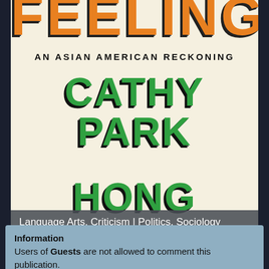[Figure (illustration): Book cover of 'Minor Feelings: An Asian American Reckoning' by Cathy Park Hong. The cover shows 'FEELINGS' in large orange/flame-styled letters at the top, subtitle 'AN ASIAN AMERICAN RECKONING' in bold black, and author name 'CATHY PARK HONG' in large green letters with dark shadow, on a cream/off-white background. A gray semi-transparent bar at the bottom reads 'Language Arts, Criticism | Politics, Sociology'.]
Language Arts, Criticism | Politics, Sociology
Minor Feelings: An Asian American Reckoning
Information
Users of Guests are not allowed to comment this publication.